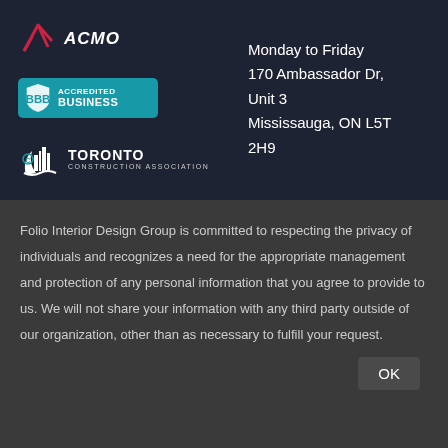[Figure (logo): ACMO logo with stylized arrow/rocket icon and italic bold text 'ACMO']
[Figure (logo): BBB Accredited Business badge with teal background, shield icon, and text 'ACCREDITED BUSINESS']
[Figure (logo): Toronto Construction Association logo with building skyline icon and text 'TORONTO CONSTRUCTION ASSOCIATION']
Monday to Friday
170 Ambassador Dr,
Unit 3
Mississauga, ON L5T
2H9
Folio Interior Design Group is committed to respecting the privacy of individuals and recognizes a need for the appropriate management and protection of any personal information that you agree to provide to us. We will not share your information with any third party outside of our organization, other than as necessary to fulfill your request.
OK